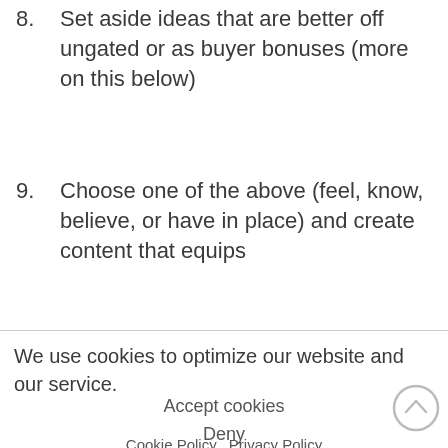8. Set aside ideas that are better off ungated or as buyer bonuses (more on this below)
9. Choose one of the above (feel, know, believe, or have in place) and create content that equips
We use cookies to optimize our website and our service.
Accept cookies
Deny
Cookie Policy   Privacy Policy